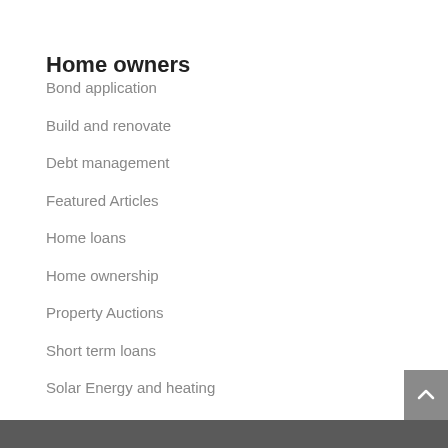Home owners
Bond application
Build and renovate
Debt management
Featured Articles
Home loans
Home ownership
Property Auctions
Short term loans
Solar Energy and heating